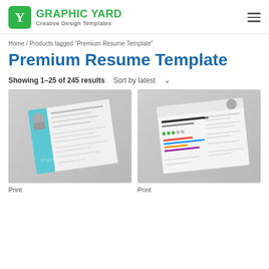GRAPHIC YARD — Creative Design Templates
Home / Products tagged "Premium Resume Template"
Premium Resume Template
Showing 1–25 of 245 results  Sort by latest
[Figure (photo): Mockup of a resume template printed document shown at an angle on a light gray surface]
Print
[Figure (photo): Mockup of a colorful resume template printed document shown at an angle on a light gray surface]
Print